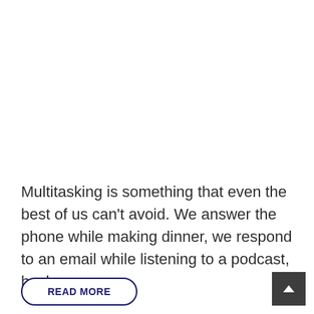Multitasking is something that even the best of us can't avoid. We answer the phone while making dinner, we respond to an email while listening to a podcast, heck we